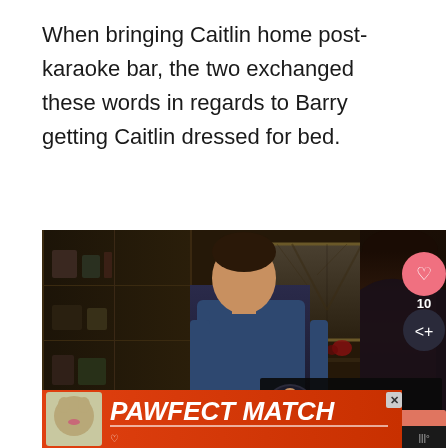When bringing Caitlin home post-karaoke bar, the two exchanged these words in regards to Barry getting Caitlin dressed for bed.
[Figure (screenshot): A dark scene from a TV show (The Flash) showing two people — Barry (a young man in a blue sweater) and Caitlin (a woman with long dark hair) — standing and facing each other in an apartment. A bookshelf is visible on the left, and a framed picture/window on the back wall. Overlaid UI elements include a heart/like button showing '10', a share button, and a 'What's Next → The Flash Recap:...' thumbnail in the lower right. An advertisement banner for 'PAWFECT MATCH' with a cat image is overlaid at the bottom.]